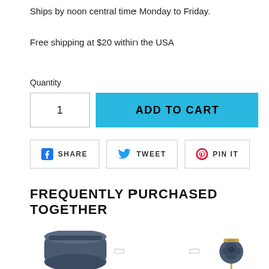Ships by noon central time Monday to Friday.
Free shipping at $20 within the USA
Quantity
1
ADD TO CART
SHARE
TWEET
PIN IT
FREQUENTLY PURCHASED TOGETHER
[Figure (photo): A rolled dark navy blue tie and a dark navy rose lapel pin/boutonniere with a gold crown accent, shown as product recommendations.]